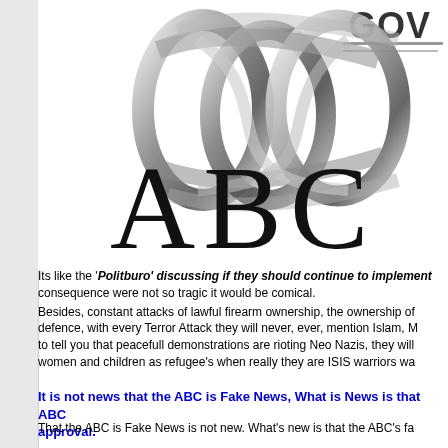[Figure (logo): ABC Australia broadcaster logo — large intertwined metallic loops above large black letters 'ABC', with partial 'GOV' text visible top right]
Its like the 'Politburo' discussing if they should continue to implement... consequence were not so tragic it would be comical.
Besides, constant attacks of lawful firearm ownership, the ownership of... defence, with every Terror Attack they will never, ever, mention Islam, M... to tell you that peacefull demonstrations are rioting Neo Nazis, they will... women and children as refugee's when really they are ISIS warriors wa...
It is not news that the ABC is Fake News, What is News is that ABC... approval.
That the ABC is Fake News is not new. What's new is that the ABC's fa...